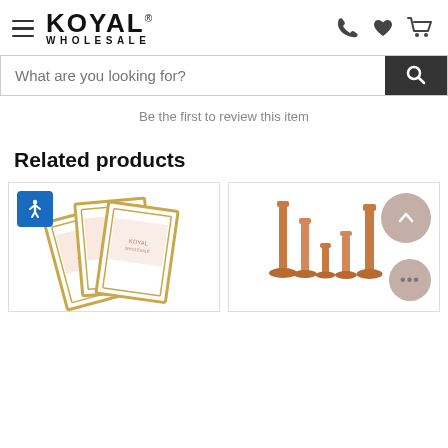KOYAL® WHOLESALE — navigation header with hamburger menu, logo, phone, wishlist, and cart icons
What are you looking for?
Be the first to review this item
Related products
[Figure (photo): Product card showing gold geometric photo frames with floral design, stacked/fanned out, with accessibility icon overlay]
[Figure (photo): Product card showing rose gold/copper metal candlestick holders in various heights, with back-to-top and chat circle buttons overlaid]